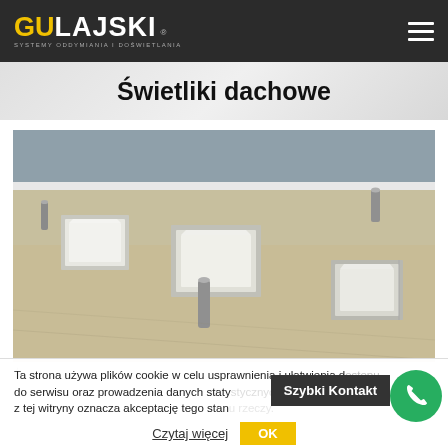GULAJSKI - SYSTEMY ODDYMIANIA I DOŚWIETLANIA
Świetliki dachowe
[Figure (photo): Flat roof with multiple rectangular roof skylights/dome lights installed, photographed from above showing the rooftop surface]
Ta strona używa plików cookie w celu usprawnienia i ułatwienia dostępu do serwisu oraz prowadzenia danych statystycznych. Dalsze korzystanie z tej witryny oznacza akceptację tego stanu rzeczy.
Czytaj więcej
OK
Szybki Kontakt